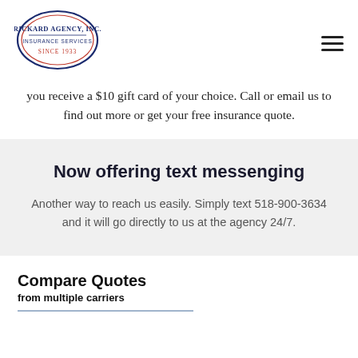[Figure (logo): Rickard Agency, Inc. Insurance Services Since 1933 oval logo with red and blue double-oval border]
you receive a $10 gift card of your choice. Call or email us to find out more or get your free insurance quote.
Now offering text messenging
Another way to reach us easily. Simply text 518-900-3634 and it will go directly to us at the agency 24/7.
Compare Quotes from multiple carriers